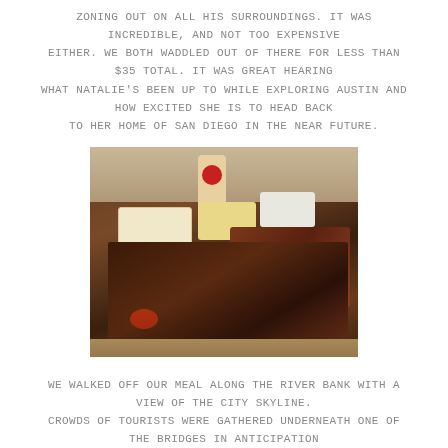zoning out on all his surroundings. It was incredible, and not too expensive either. We both waddled out of there for less than $35 total. It was great hearing what Natalie's been up to while exploring Austin and how excited she is to head back to her home of San Diego in the near future.
[Figure (photo): A BBQ platter on a wooden tray with sliced brisket, ribs, white bread, mac and cheese, coleslaw, a Lone Star beer bottle in the background, and barbecue sauce.]
We walked off our meal along the river bank with a view of the city skyline. Crowds of tourists were gathered underneath one of the bridges in anticipation for the infamous bats of Austin. Every night, just as dusk falls, thousands of